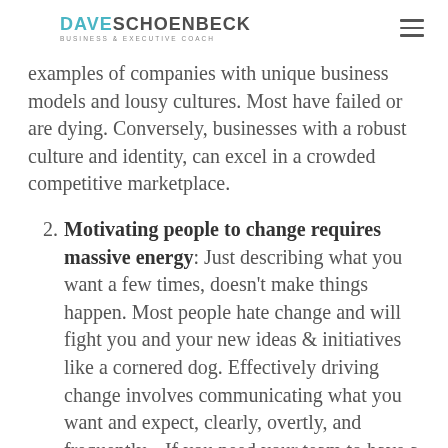DAVE SCHOENBECK BUSINESS & EXECUTIVE COACH
examples of companies with unique business models and lousy cultures. Most have failed or are dying. Conversely, businesses with a robust culture and identity, can excel in a crowded competitive marketplace.
Motivating people to change requires massive energy: Just describing what you want a few times, doesn't make things happen. Most people hate change and will fight you and your new ideas & initiatives like a cornered dog. Effectively driving change involves communicating what you want and expect, clearly, overtly, and frequently.   If you need your team to have a different attitude, or do